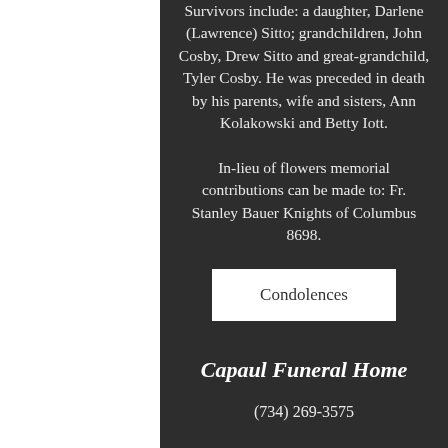Survivors include: a daughter, Darlene (Lawrence) Sitto; grandchildren, John Cosby, Drew Sitto and great-grandchild, Tyler Cosby. He was preceded in death by his parents, wife and sisters, Ann Kolakowski and Betty Iott.
In-lieu of flowers memorial contributions can be made to: Fr. Stanley Bauer Knights of Columbus 8698.
Condolences
Capaul Funeral Home
(734) 269-3575